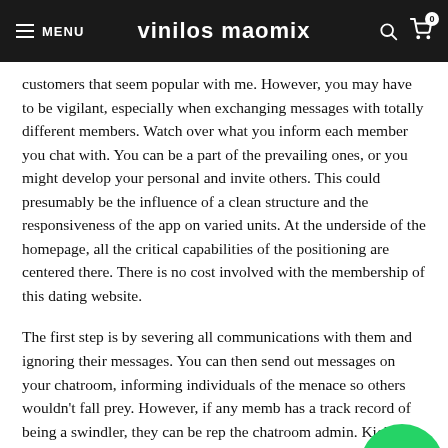MENU | vinilos maomix
customers that seem popular with me. However, you may have to be vigilant, especially when exchanging messages with totally different members. Watch over what you inform each member you chat with. You can be a part of the prevailing ones, or you might develop your personal and invite others. This could presumably be the influence of a clean structure and the responsiveness of the app on varied units. At the underside of the homepage, all the critical capabilities of the positioning are centered there. There is no cost involved with the membership of this dating website.
The first step is by severing all communications with them and ignoring their messages. You can then send out messages on your chatroom, informing individuals of the menace so others wouldn't fall prey. However, if any memb has a track record of being a swindler, they can be rep the chatroom admin. Kicking them out of several chatr sends a strong message and alerts members to be wary o
[Figure (logo): WhatsApp green chat bubble icon button in bottom right corner]